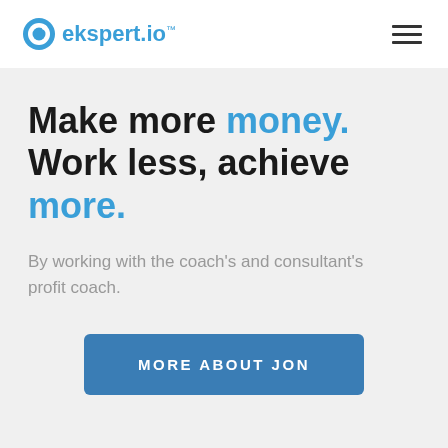ekspert.io™
Make more money. Work less, achieve more.
By working with the coach's and consultant's profit coach.
MORE ABOUT JON